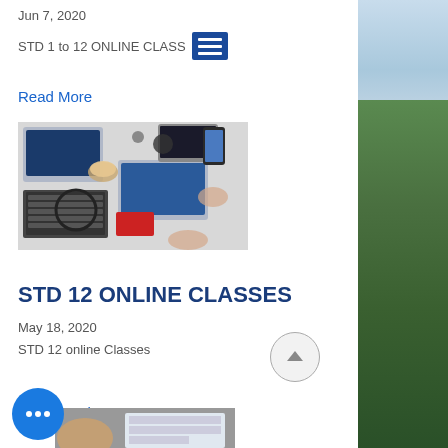Jun 7, 2020
STD 1 to 12 ONLINE CLASS
Read More
[Figure (photo): Overhead view of multiple people working on laptops, keyboards, tablets and smartphones on a white desk]
STD 12 ONLINE CLASSES
May 18, 2020
STD 12 online Classes
Read More
[Figure (photo): Partial bottom photo showing person and documents, partially cropped]